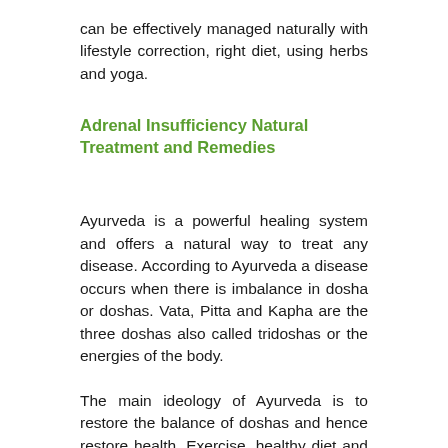can be effectively managed naturally with lifestyle correction, right diet, using herbs and yoga.
Adrenal Insufficiency Natural Treatment and Remedies
Ayurveda is a powerful healing system and offers a natural way to treat any disease. According to Ayurveda a disease occurs when there is imbalance in dosha or doshas. Vata, Pitta and Kapha are the three doshas also called tridoshas or the energies of the body.
The main ideology of Ayurveda is to restore the balance of doshas and hence restore health. Exercise, healthy diet and healthy life style are also equally important in Ayurvedic Medicine.
Herbal Ayurveda Remedies for Addison’s Disease
Some of the Ayurvedic herbs that may offer a natural treatment and management for Addison’s disease